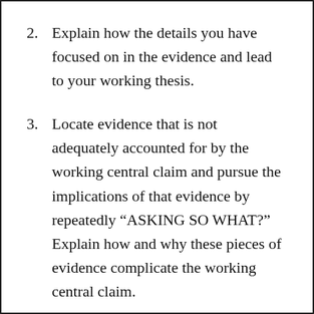2.  Explain how the details you have focused on in the evidence and lead to your working thesis.
3.  Locate evidence that is not adequately accounted for by the working central claim and pursue the implications of that evidence by repeatedly “ASKING SO WHAT?” Explain how and why these pieces of evidence complicate the working central claim.